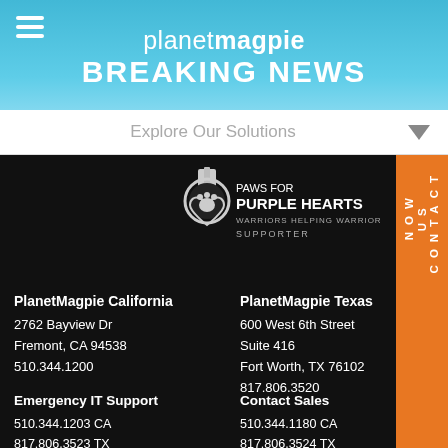planetmagpie BREAKING NEWS
Explore Our Solutions
[Figure (logo): Paws for Purple Hearts - Warriors Helping Warriors Supporter logo with medal and paw icon]
PlanetMagpie California
2762 Bayview Dr
Fremont, CA 94538
510.344.1200
PlanetMagpie Texas
600 West 6th Street
Suite 416
Fort Worth, TX 76102
817.806.3520
Emergency IT Support
510.344.1203 CA
817.806.3523 TX
support@planetmagpie.com
Contact Sales
510.344.1180 CA
817.806.3524 TX
sales@planetmagpie.com
CONTACT US NOW